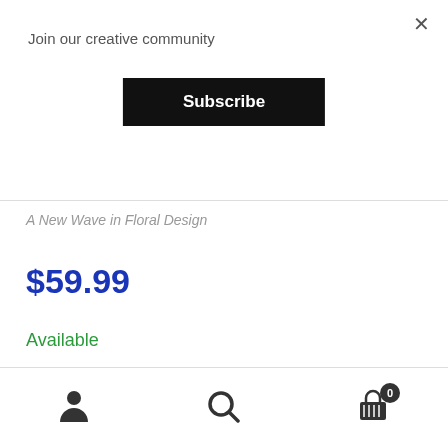Join our creative community
×
Subscribe
A New Wave in Floral Design
$59.99
Available
1
Add to cart